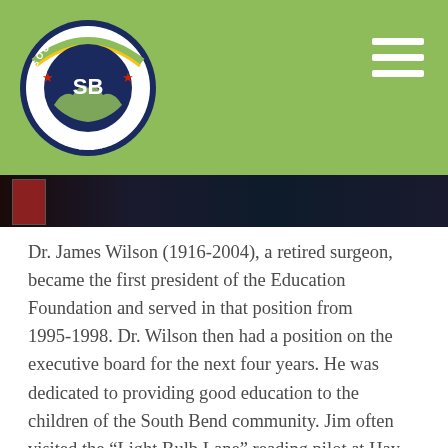[Figure (logo): South Bend Education Foundation circular logo with 'SB' initials, hands, stars, and text around the border]
[Figure (photo): Partial dark photograph strip showing a person on left side and a dark background]
Dr. James Wilson (1916-2004), a retired surgeon, became the first president of the Education Foundation and served in that position from 1995-1998. Dr. Wilson then had a position on the executive board for the next four years. He was dedicated to providing good education to the children of the South Bend community. Jim often visited the “Light Bulb Lane” reading pilot at Hay Primary School, and would just smile at the success that was evident on the children’s faces.